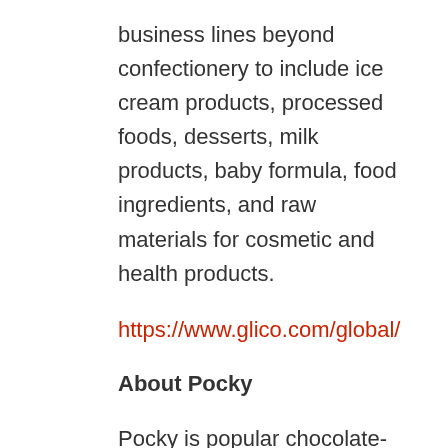business lines beyond confectionery to include ice cream products, processed foods, desserts, milk products, baby formula, food ingredients, and raw materials for cosmetic and health products.
https://www.glico.com/global/
About Pocky
Pocky is popular chocolate-based confectionary that has been loved by people all over the world since it was launched in Japan in 1966. It is made of a crisp pretzel, a kind of biscuit, coated